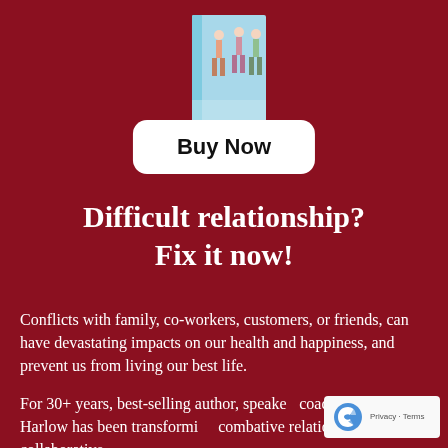[Figure (illustration): Partial view of a book with a light blue spine and cover showing figures of people, positioned at the top center of the page against dark red background]
Buy Now
Difficult relationship? Fix it now!
Conflicts with family, co-workers, customers, or friends, can have devastating impacts on our health and happiness, and prevent us from living our best life.
For 30+ years, best-selling author, speaker, coach, Teresa Harlow has been transforming combative relationships into collaborative